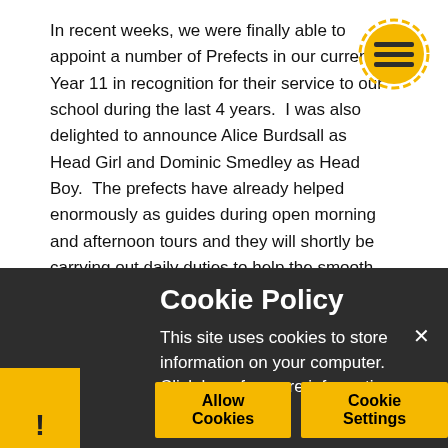In recent weeks, we were finally able to appoint a number of Prefects in our current Year 11 in recognition for their service to our school during the last 4 years.  I was also delighted to announce Alice Burdsall as Head Girl and Dominic Smedley as Head Boy.  The prefects have already helped enormously as guides during open morning and afternoon tours and they will shortly be carrying out daily duties to help the smooth running of our school.
[Figure (illustration): Golden circular menu button with three horizontal lines (hamburger menu icon)]
Next half term promises to be a productive one as Year 11 ... further mock Exams ... lockdown ... have ... through ...
Cookie Policy
This site uses cookies to store information on your computer. Click here for more information
Allow Cookies   Cookie Settings